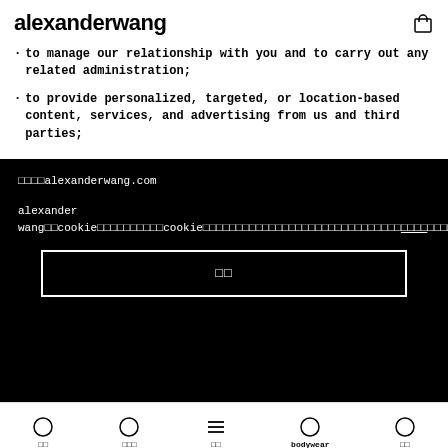alexanderwang
to manage our relationship with you and to carry out any related administration;
to provide personalized, targeted, or location-based content, services, and advertising from us and third parties;
○○○○alexanderwang.com
alexander wang○○cookie○○○○○○○○○○○cookie○○○○○○○○○○○○○○○○○○○○○○○○○○○○○○○○○○○cookie○○○○○○○○○○
○○
○○  ○○○  ○○  bodywear  ○○